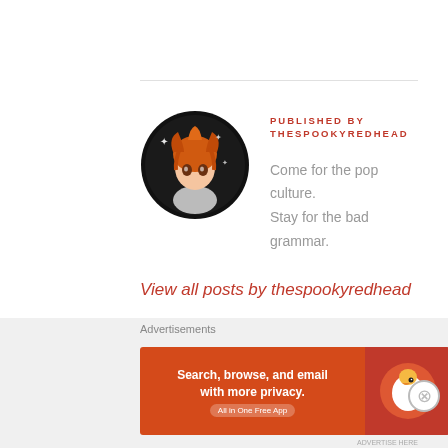[Figure (illustration): Circular anime-style avatar with black background, featuring an orange-haired character with sparkle effects]
PUBLISHED BY
THESPOOKYREDHEAD
Come for the pop culture.
Stay for the bad grammar.
View all posts by thespookyredhead
< PREVIOUS POST   NEXT POST >
Advertisements
[Figure (screenshot): DuckDuckGo advertisement banner: Search, browse, and email with more privacy. All in One Free App. Orange background with DuckDuckGo logo on right.]